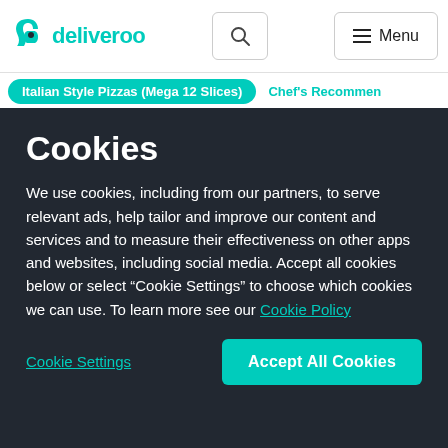[Figure (logo): Deliveroo logo with teal kangaroo icon and teal wordmark 'deliveroo']
deliveroo [search] [Menu]
Italian Style Pizzas (Mega 12 Slices)   Chef's Recommen
Cookies
We use cookies, including from our partners, to serve relevant ads, help tailor and improve our content and services and to measure their effectiveness on other apps and websites, including social media. Accept all cookies below or select “Cookie Settings” to choose which cookies we can use. To learn more see our Cookie Policy
Cookie Settings
Accept All Cookies